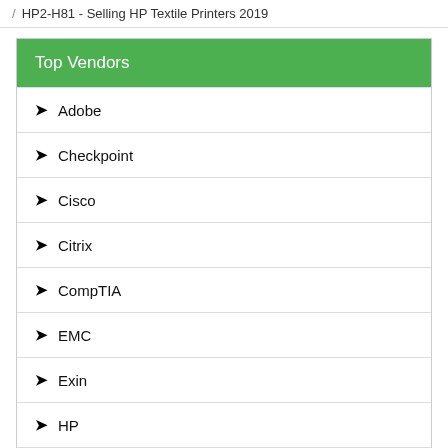HP2-H81 - Selling HP Textile Printers 2019
Top Vendors
Adobe
Checkpoint
Cisco
Citrix
CompTIA
EMC
Exin
HP
IBM